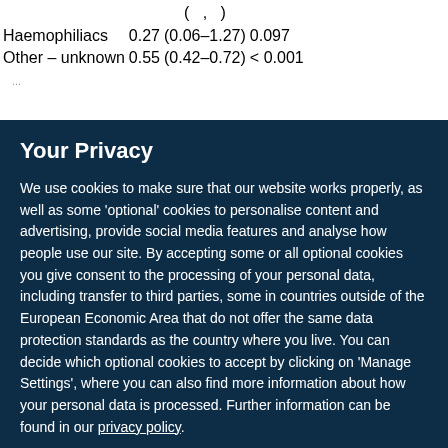|  |  | (  ,  ) |  |
| --- | --- | --- | --- |
| Haemophiliacs | 0.27 | (0.06–1.27) | 0.097 |
| Other – unknown | 0.55 | (0.42–0.72) | < 0.001 |
| ... |  |  |  |
Your Privacy
We use cookies to make sure that our website works properly, as well as some 'optional' cookies to personalise content and advertising, provide social media features and analyse how people use our site. By accepting some or all optional cookies you give consent to the processing of your personal data, including transfer to third parties, some in countries outside of the European Economic Area that do not offer the same data protection standards as the country where you live. You can decide which optional cookies to accept by clicking on 'Manage Settings', where you can also find more information about how your personal data is processed. Further information can be found in our privacy policy.
Accept all cookies
Manage preferences